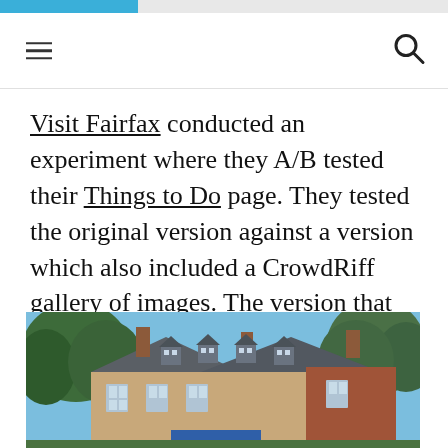Visit Fairfax conducted an experiment where they A/B tested their Things to Do page. They tested the original version against a version which also included a CrowdRiff gallery of images. The version that included the visual gallery had a 351% higher time on page.
[Figure (photo): Photograph of a historic brick manor house with slate dormered roof, chimneys, and surrounding trees under a blue sky, with a partial blue banner visible at the bottom.]